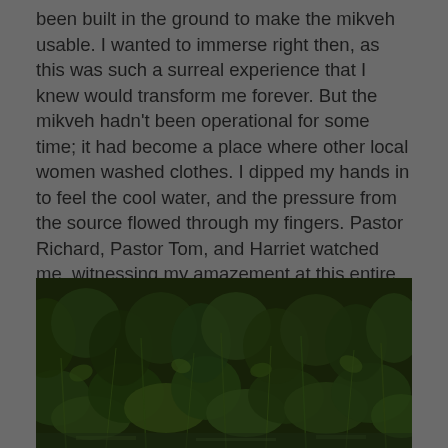been built in the ground to make the mikveh usable. I wanted to immerse right then, as this was such a surreal experience that I knew would transform me forever. But the mikveh hadn't been operational for some time; it had become a place where other local women washed clothes. I dipped my hands in to feel the cool water, and the pressure from the source flowed through my fingers. Pastor Richard, Pastor Tom, and Harriet watched me, witnessing my amazement at this entire encounter. As we walked back, I explained the renewing power of the mikveh, as they listened intently.
[Figure (photo): A photograph showing dense green foliage and vegetation, likely taken near a natural water source. The image shows dark green leaves, grasses, and plants in low lighting conditions.]